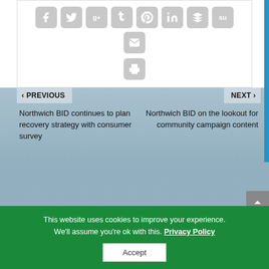[Figure (screenshot): Social media share icons row: Facebook, Twitter, Google+, Tumblr, Pinterest, LinkedIn, Buffer, StumbleUpon, Email, and a Print icon below]
< PREVIOUS
Northwich BID continues to plan recovery strategy with consumer survey
NEXT >
Northwich BID on the lookout for community campaign content
RELATED POSTS
This website uses cookies to improve your experience. We'll assume you're ok with this. Privacy Policy
Accept